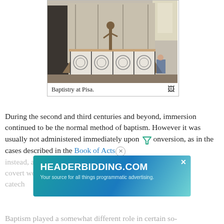[Figure (photo): Interior photo of the Baptistry at Pisa showing an octagonal baptismal font with ornate marble carvings and a bronze statue on top, inside a church building.]
Baptistry at Pisa.
During the second and third centuries and beyond, immersion continued to be the normal method of baptism. However it was usually not administered immediately upon conversion, as in the cases described in the Book of Acts; instead, a period of study was usually required, in which a covert would become a candidate for baptism, known as a catech...
[Figure (screenshot): Advertisement overlay for HEADERBIDDING.COM with tagline 'Your source for all things programmatic advertising.' on a teal/blue gradient background with an X close button.]
Baptism played a somewhat different role in certain so-